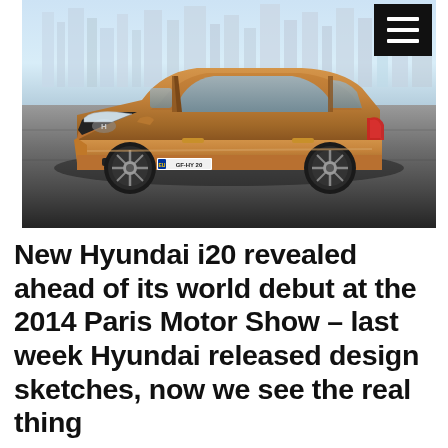[Figure (photo): A bronze/copper-colored Hyundai i20 hatchback car photographed in a parking area with a city skyline in the background. The car is shown from a front three-quarter angle. A hamburger menu icon in a black square is visible in the top-right corner of the image.]
New Hyundai i20 revealed ahead of its world debut at the 2014 Paris Motor Show – last week Hyundai released design sketches, now we see the real thing